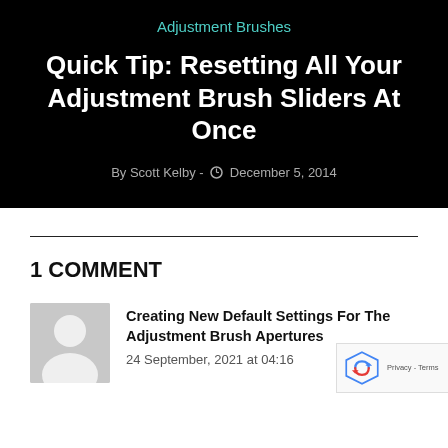Adjustment Brushes
Quick Tip: Resetting All Your Adjustment Brush Sliders At Once
By Scott Kelby - December 5, 2014
1 COMMENT
[Figure (illustration): Default grey avatar silhouette of a person]
Creating New Default Settings For The Adjustment Brush Apertures
24 September, 2021 at 04:16